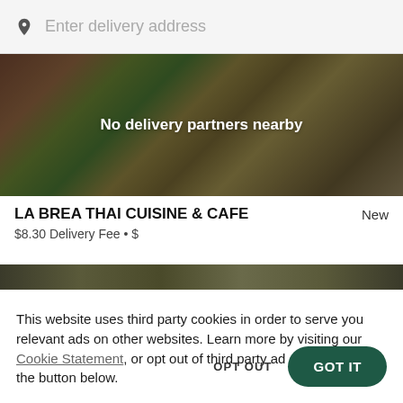Enter delivery address
[Figure (photo): Food image with 'No delivery partners nearby' overlay text]
LA BREA THAI CUISINE & CAFE
New
$8.30 Delivery Fee • $
[Figure (photo): Partial food image strip]
This website uses third party cookies in order to serve you relevant ads on other websites. Learn more by visiting our Cookie Statement, or opt out of third party ad cookies using the button below.
OPT OUT
GOT IT